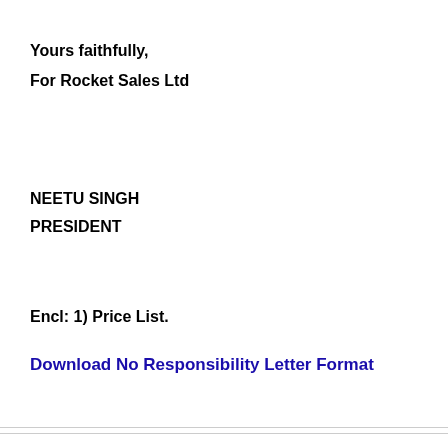Yours faithfully,
For Rocket Sales Ltd
NEETU SINGH
PRESIDENT
Encl: 1) Price List.
Download No Responsibility Letter Format